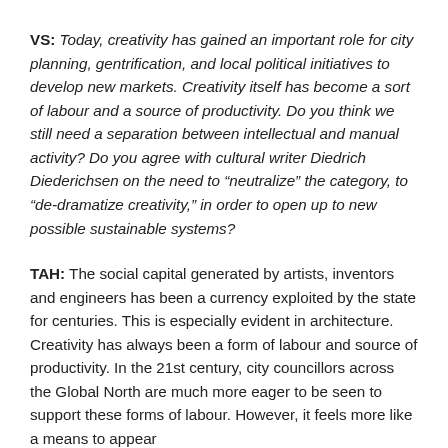VS: Today, creativity has gained an important role for city planning, gentrification, and local political initiatives to develop new markets. Creativity itself has become a sort of labour and a source of productivity. Do you think we still need a separation between intellectual and manual activity? Do you agree with cultural writer Diedrich Diederichsen on the need to “neutralize” the category, to “de-dramatize creativity,” in order to open up to new possible sustainable systems?
TAH: The social capital generated by artists, inventors and engineers has been a currency exploited by the state for centuries. This is especially evident in architecture. Creativity has always been a form of labour and source of productivity. In the 21st century, city councillors across the Global North are much more eager to be seen to support these forms of labour. However, it feels more like a means to appear